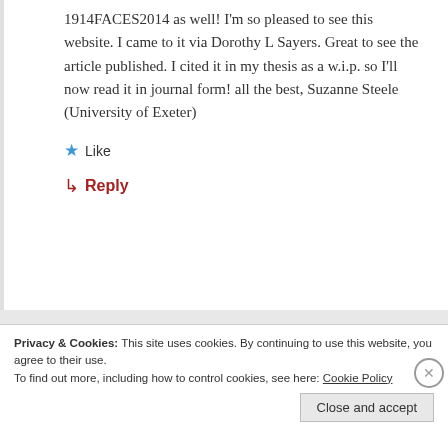1914FACES2014 as well! I'm so pleased to see this website. I came to it via Dorothy L Sayers. Great to see the article published. I cited it in my thesis as a w.i.p. so I'll now read it in journal form! all the best, Suzanne Steele (University of Exeter)
★ Like
↳ Reply
Privacy & Cookies: This site uses cookies. By continuing to use this website, you agree to their use.
To find out more, including how to control cookies, see here: Cookie Policy
Close and accept